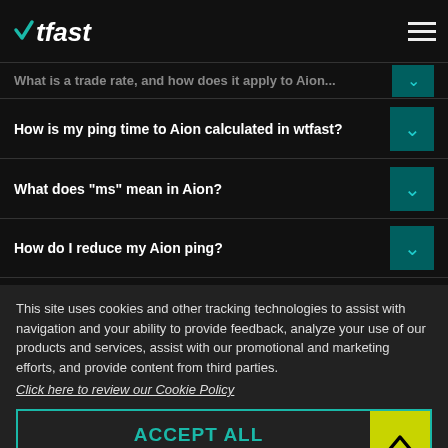wtfast
What is a trade rate, and how does it apply to Aion... [collapsed]
How is my ping time to Aion calculated in wtfast?
What does "ms" mean in Aion?
How do I reduce my Aion ping?
This site uses cookies and other tracking technologies to assist with navigation and your ability to provide feedback, analyze your use of our products and services, assist with our promotional and marketing efforts, and provide content from third parties.
Click here to review our Cookie Policy
ACCEPT ALL
auto accept in 30
Accept mandatory and performance